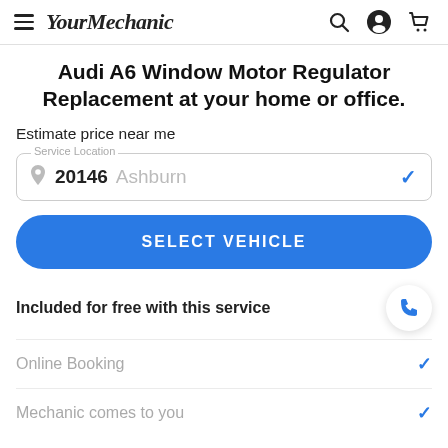YourMechanic
Audi A6 Window Motor Regulator Replacement at your home or office.
Estimate price near me
Service Location — 20146 Ashburn
SELECT VEHICLE
Included for free with this service
Online Booking
Mechanic comes to you